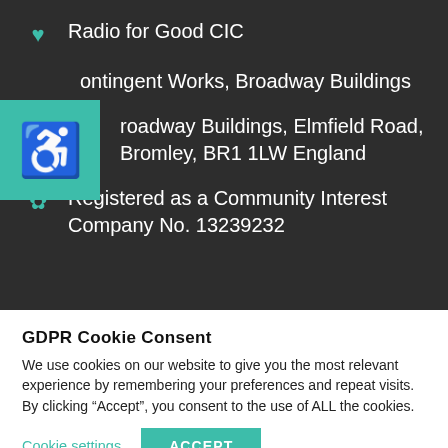Radio for Good CIC
Contingent Works, Broadway Buildings
Broadway Buildings, Elmfield Road, Bromley, BR1 1LW England
Registered as a Community Interest Company No. 13239232
GDPR Cookie Consent
We use cookies on our website to give you the most relevant experience by remembering your preferences and repeat visits. By clicking “Accept”, you consent to the use of ALL the cookies.
Cookie settings   ACCEPT